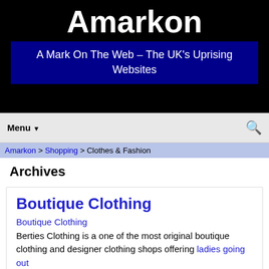Amarkon
A Mark On The Web – The UK's Uprising Websites
Menu ▾
Amarkon > Shopping > Clothes & Fashion
Archives
Boutique Clothing
Boutique Clothing
Berties Clothing is a one of the most original boutique clothing and designer clothing shops offering ladies going out